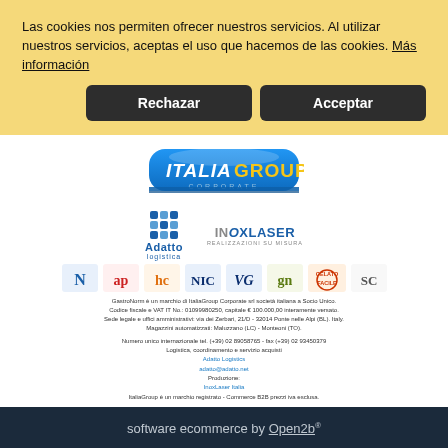Las cookies nos permiten ofrecer nuestros servicios. Al utilizar nuestros servicios, aceptas el uso que hacemos de las cookies. Más información
Rechazar
Acceptar
[Figure (logo): ItaliaGroup Corporate logo - blue rounded badge with ITALIA in white italic and GROUP in yellow, CORPORATE subtitle below]
[Figure (logo): Adatto logistica logo - blue grid dots and Adatto logistica text]
[Figure (logo): InoxLaser logo - grey and blue stylized text]
[Figure (logo): Row of eight brand logos: ItaliaCity, AP, HC, NIC, VG, GN, Gelato Facile, SC]
GastroNorm è un marchio di ItaliaGroup Corporate srl società italiana a Socio Unico. Codice fiscale e VAT IT No.: 01099980250, capitale € 100.000,00 interamente versato. Sede legale e uffici amministrativi: via dei Zerbari, 21/D - 32014 Ponte nelle Alpi (BL). Italy. Magazzini automatizzati: Maluzzano (LC) - Monteoni (TO).
Numero unico internazionale tel. (+39) 02 89058765 - fax (+39) 02 93450379
Logistica, coordinamento e servizio acquisti
Adatto Logistics
adatto@adatto.net
Produzione:
InoxLaser Italia
ItaliaGroup è un marchio registrato - Commerce B2B prezzi iva esclusa.
software ecommerce by Open2b®